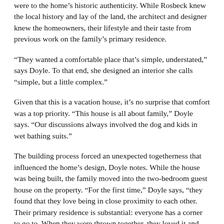were to the home's historic authenticity. While Rosbeck knew the local history and lay of the land, the architect and designer knew the homeowners, their lifestyle and their taste from previous work on the family's primary residence.
“They wanted a comfortable place that’s simple, understated,” says Doyle. To that end, she designed an interior she calls “simple, but a little complex.”
Given that this is a vacation house, it’s no surprise that comfort was a top priority. “This house is all about family,” Doyle says. “Our discussions always involved the dog and kids in wet bathing suits.”
The building process forced an unexpected togetherness that influenced the home’s design, Doyle notes. While the house was being built, the family moved into the two-bedroom guest house on the property. “For the first time,” Doyle says, “they found that they love being in close proximity to each other. Their primary residence is substantial: everyone has a corner to go to. When they were thrown together, they loved it and decided that they wanted to keep that closeness.”